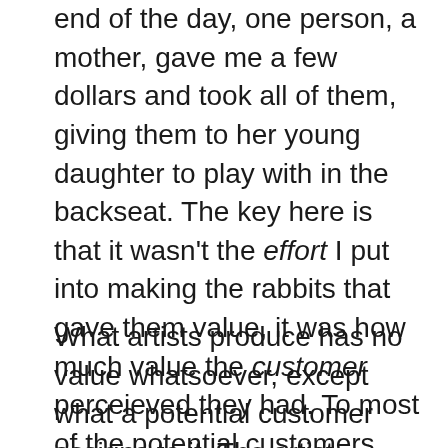end of the day, one person, a mother, gave me a few dollars and took all of them, giving them to her young daughter to play with in the backseat. The key here is that it wasn't the effort I put into making the rabbits that gave them value, it was how much value the customer perceieved they had. To most of the potential customers, the rabbits were useless pieces of garishly-colored paper, but to one, it was an inexpensive way to entertain her child during the drive home.
What artists produce has no value whatsoever, except what a potential customer assigns to it. The artist Vincent van Gogh was hardly wealthy during his lifetime; his work didn't achieve global renown until twenty years after his death. Now, his original works have fetched some of the highest